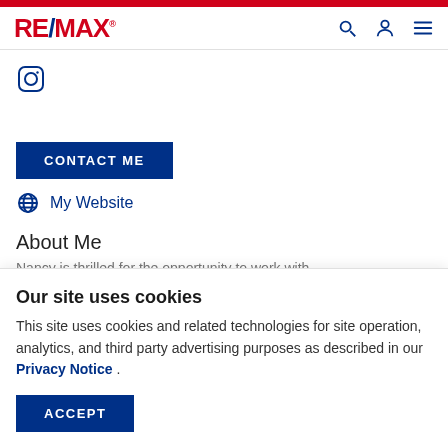RE/MAX
[Figure (logo): Instagram icon - rounded square with circle inside]
CONTACT ME
My Website
About Me
Nancy is thrilled for the opportunity to work with
Our site uses cookies
This site uses cookies and related technologies for site operation, analytics, and third party advertising purposes as described in our Privacy Notice .
ACCEPT